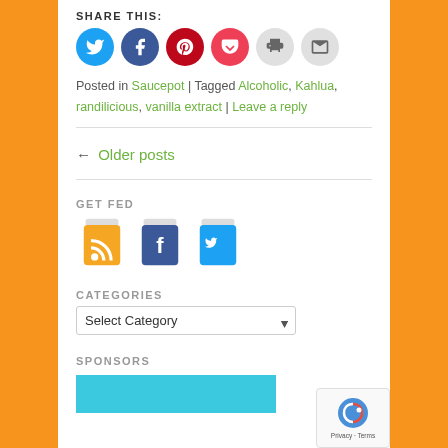SHARE THIS:
[Figure (illustration): Six circular social share buttons: Twitter (blue), Facebook (blue), Pinterest (red), Pocket (red), Print (gray), Email (gray)]
Posted in Saucepot | Tagged Alcoholic, Kahlua, randilicious, vanilla extract | Leave a reply
← Older posts
GET FED
[Figure (illustration): Three coffee cup icons with RSS (orange), Facebook (blue), and Twitter (teal) logos]
CATEGORIES
[Figure (other): Select Category dropdown]
SPONSORS
[Figure (illustration): Light blue sponsor banner rectangle]
[Figure (other): reCAPTCHA privacy badge in bottom right corner]